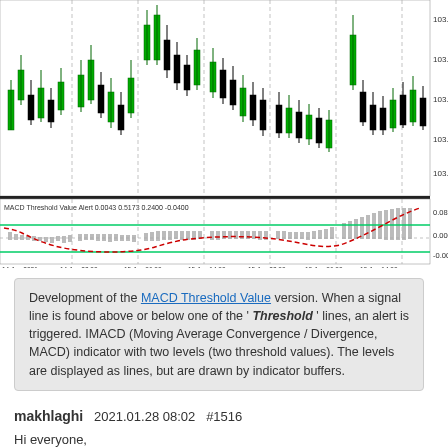[Figure (continuous-plot): Candlestick price chart (top panel) with MACD Threshold Value Alert indicator (bottom panel). Top panel shows candlestick bars in green and black on white background with price levels around 103.615–103.875. Bottom panel shows MACD histogram (grey bars), signal line (red dashed), and two horizontal threshold lines (green). Label reads: MACD Threshold Value Alert 0.0043 0.5173 0.2400 -0.0400. X-axis shows dates from 14 Jan 2021 to 19 Jan 14:00.]
Development of the MACD Threshold Value version. When a signal line is found above or below one of the 'Threshold' lines, an alert is triggered. IMACD (Moving Average Convergence / Divergence, MACD) indicator with two levels (two threshold values). The levels are displayed as lines, but are drawn by indicator buffers.
makhlaghi  2021.01.28 08:02  #1516
Hi everyone,